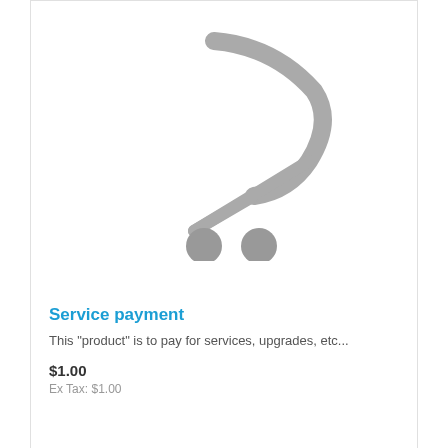[Figure (illustration): Shopping cart icon in gray, placeholder product image]
Service payment
This "product" is to pay for services, upgrades, etc...
$1.00
Ex Tax: $1.00
[Figure (illustration): Action buttons: shopping cart, heart/wishlist, compare icons]
[Figure (photo): Second product card showing Walbro logo and a product with dark straps/cables]